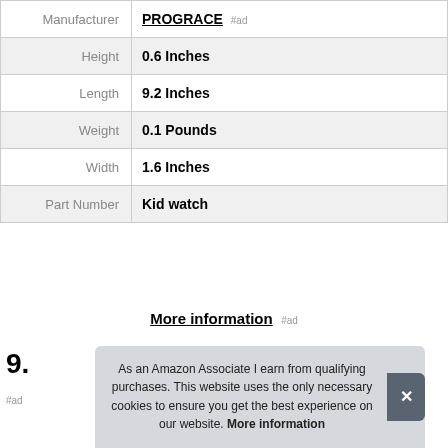| Label | Value |
| --- | --- |
| Manufacturer | PROGRACE #ad |
| Height | 0.6 Inches |
| Length | 9.2 Inches |
| Weight | 0.1 Pounds |
| Width | 1.6 Inches |
| Part Number | Kid watch |
More information #ad
9.
#ad
As an Amazon Associate I earn from qualifying purchases. This website uses the only necessary cookies to ensure you get the best experience on our website. More information